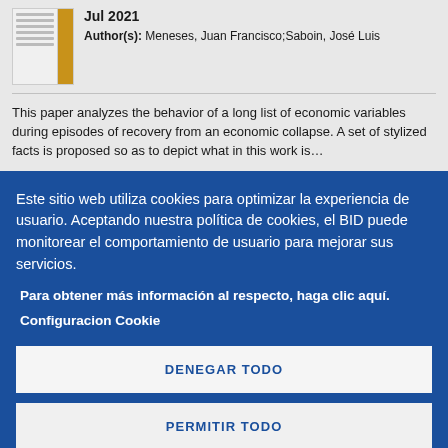Jul 2021
Author(s): Meneses, Juan Francisco;Saboin, José Luis
This paper analyzes the behavior of a long list of economic variables during episodes of recovery from an economic collapse. A set of stylized facts is proposed so as to depict what in this work is…
Este sitio web utiliza cookies para optimizar la experiencia de usuario. Aceptando nuestra política de cookies, el BID puede monitorear el comportamiento de usuario para mejorar sus servicios.
Para obtener más información al respecto, haga clic aquí.
Configuracion Cookie
DENEGAR TODO
PERMITIR TODO